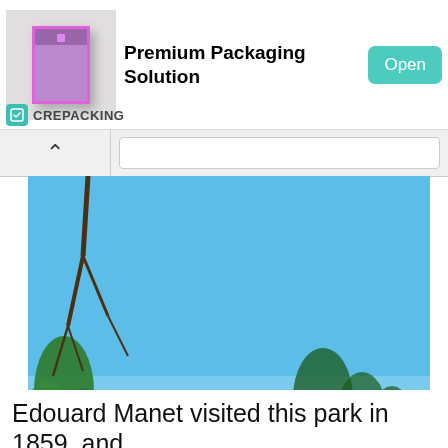[Figure (screenshot): Advertisement banner for CREPACKING Premium Packaging Solution with pink/purple box icon and teal Open button]
[Figure (photo): Outdoor park scene with blue sky, trees, a dome structure in background, statue on pedestal to the right, green lawn, palm trees on left]
This site uses Google cookies to personalize ads and to analyze traffic. By using this site, you agree to its use of cookies. Learn more
OK!
Edouard Manet visited this park in 1859, and